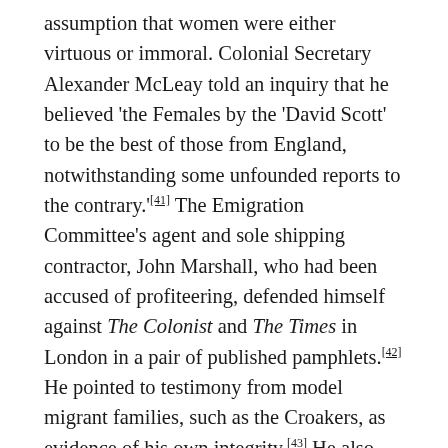assumption that women were either virtuous or immoral. Colonial Secretary Alexander McLeay told an inquiry that he believed 'the Females by the 'David Scott' to be the best of those from England, notwithstanding some unfounded reports to the contrary.'[41] The Emigration Committee's agent and sole shipping contractor, John Marshall, who had been accused of profiteering, defended himself against The Colonist and The Times in London in a pair of published pamphlets.[42] He pointed to testimony from model migrant families, such as the Croakers, as evidence of his own integrity.[43] He also reproduced a letter from one Ann Loomes, purportedly the 'wife of a poor man of industrious character,' to her brother James. Loomes gave a